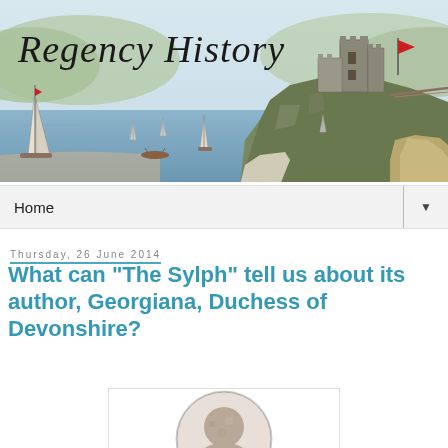[Figure (illustration): Regency History website banner showing a watercolor-style coastal scene with sailboats on water, rocky cliffs, a ruined castle on a promontory, rolling green hills, and a red flag. The text 'Regency History' is written in cursive script in the top-left corner.]
Home ▼
Thursday, 26 June 2014
What can "The Sylph" tell us about its author, Georgiana, Duchess of Devonshire?
[Figure (photo): Black and white circular portrait photograph, partially visible at bottom of page.]